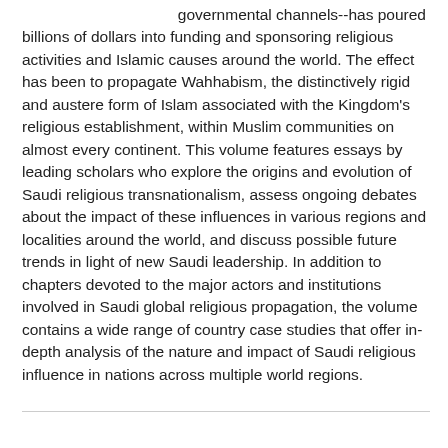governmental channels--has poured billions of dollars into funding and sponsoring religious activities and Islamic causes around the world. The effect has been to propagate Wahhabism, the distinctively rigid and austere form of Islam associated with the Kingdom's religious establishment, within Muslim communities on almost every continent. This volume features essays by leading scholars who explore the origins and evolution of Saudi religious transnationalism, assess ongoing debates about the impact of these influences in various regions and localities around the world, and discuss possible future trends in light of new Saudi leadership. In addition to chapters devoted to the major actors and institutions involved in Saudi global religious propagation, the volume contains a wide range of country case studies that offer in-depth analysis of the nature and impact of Saudi religious influence in nations across multiple world regions.